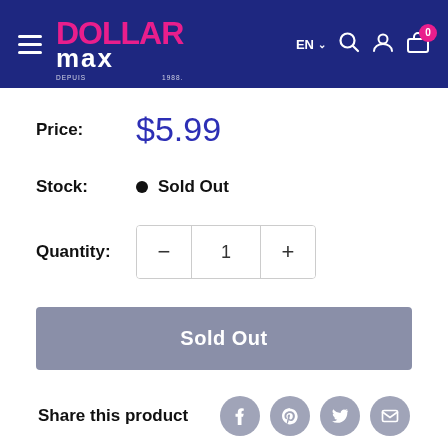[Figure (logo): Dollar Max store logo with hamburger menu, language selector EN, search icon, user icon, and cart icon with 0 badge, on dark blue background]
Price: $5.99
Stock: • Sold Out
Quantity: 1
Sold Out
Share this product